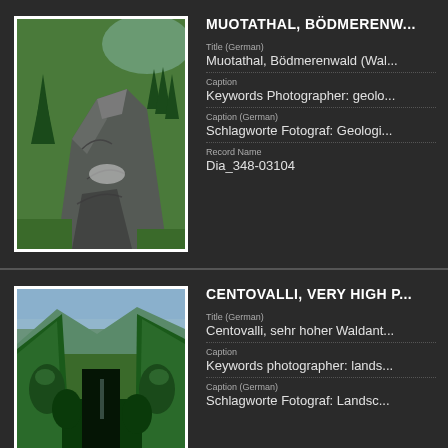[Figure (photo): Photograph of rocky cliff face with conifer trees, Muotathal Bödmerenwald]
MUOTATHAL, BÖDMERENW...
Title (German)
Muotathal, Bödmerenwald (Wal...
Caption
Keywords Photographer: geolo...
Caption (German)
Schlagworte Fotograf: Geologi...
Record Name
Dia_348-03104
[Figure (photo): Photograph of Centovalli valley with very high forest cover, green mountain slopes]
CENTOVALLI, VERY HIGH P...
Title (German)
Centovalli, sehr hoher Waldant...
Caption
Keywords photographer: lands...
Caption (German)
Schlagworte Fotograf: Landsc...